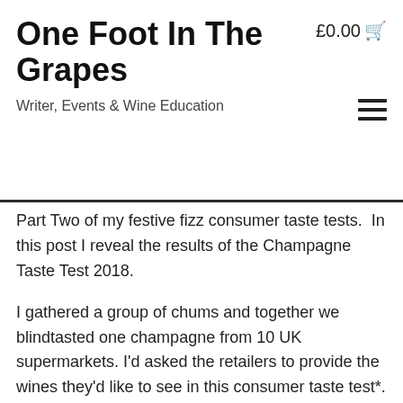One Foot In The Grapes
£0.00
Writer, Events & Wine Education
Part Two of my festive fizz consumer taste tests.  In this post I reveal the results of the Champagne Taste Test 2018.
I gathered a group of chums and together we blindtasted one champagne from 10 UK supermarkets. I'd asked the retailers to provide the wines they'd like to see in this consumer taste test*. It wasn't some random selection by yours truly.
I wrapped the bottles so everything was incognito and we gave the wines a pseudonym. We then  marked on aromas, bubbles, taste and finish. A wine could receive a maximum of 90 marks. We didn't know which wine had won until we did the Big Reveal when all the scores were in.